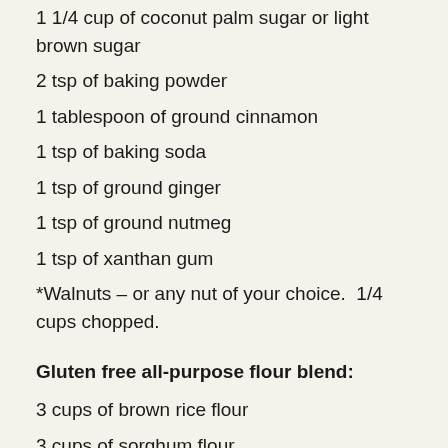1 1/4 cup of coconut palm sugar or light brown sugar
2 tsp of baking powder
1 tablespoon of ground cinnamon
1 tsp of baking soda
1 tsp of ground ginger
1 tsp of ground nutmeg
1 tsp of xanthan gum
*Walnuts – or any nut of your choice.  1/4 cups chopped.
Gluten free all-purpose flour blend:
3 cups of brown rice flour
3 cups of sorghum flour
1.5 potato starch, not flour